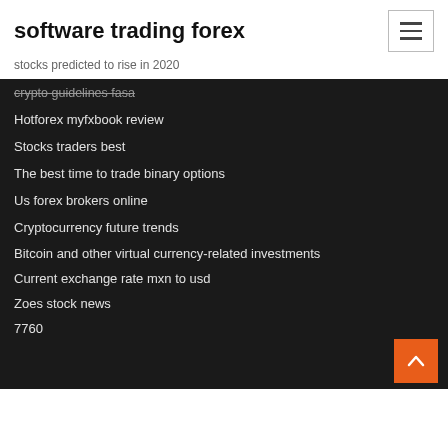software trading forex
stocks predicted to rise in 2020
crypto guidelines fasa
Hotforex myfxbook review
Stocks traders best
The best time to trade binary options
Us forex brokers online
Cryptocurrency future trends
Bitcoin and other virtual currency-related investments
Current exchange rate mxn to usd
Zoes stock news
7760